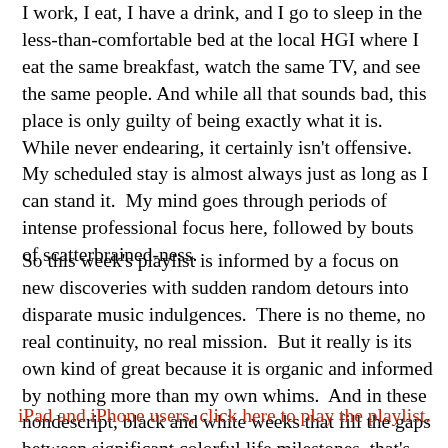I work, I eat, I have a drink, and I go to sleep in the less-than-comfortable bed at the local HGI where I eat the same breakfast, watch the same TV, and see the same people. And while all that sounds bad, this place is only guilty of being exactly what it is.  While never endearing, it certainly isn't offensive.  My scheduled stay is almost always just as long as I can stand it.  My mind goes through periods of intense professional focus here, followed by bouts of scatterbrained-ness.
So this week's playlist is informed by a focus on new discoveries with sudden random detours into disparate music indulgences.  There is no theme, no real continuity, no real mission.  But it really is its own kind of great because it is organic and informed by nothing more than my own whims.  And in these nondescript, black and white weeks that fill the gaps between significant colorful life milestones, that's something.
iPad and iPhone users, click here to play the playlist.